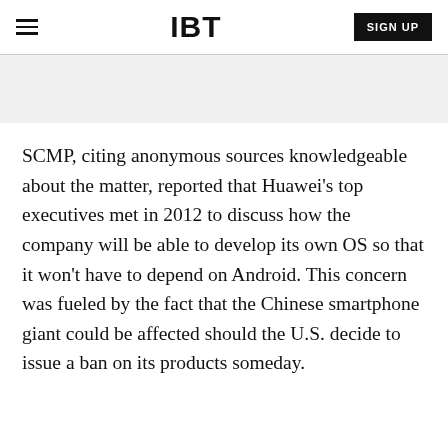IBT | SIGN UP
SCMP, citing anonymous sources knowledgeable about the matter, reported that Huawei’s top executives met in 2012 to discuss how the company will be able to develop its own OS so that it won’t have to depend on Android. This concern was fueled by the fact that the Chinese smartphone giant could be affected should the U.S. decide to issue a ban on its products someday.